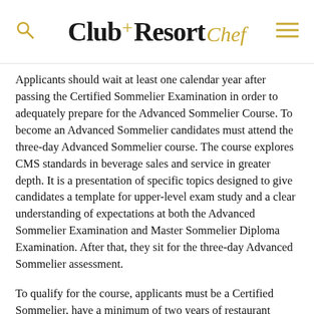Club+Resort Chef
Applicants should wait at least one calendar year after passing the Certified Sommelier Examination in order to adequately prepare for the Advanced Sommelier Course. To become an Advanced Sommelier candidates must attend the three-day Advanced Sommelier course. The course explores CMS standards in beverage sales and service in greater depth. It is a presentation of specific topics designed to give candidates a template for upper-level exam study and a clear understanding of expectations at both the Advanced Sommelier Examination and Master Sommelier Diploma Examination. After that, they sit for the three-day Advanced Sommelier assessment.
To qualify for the course, applicants must be a Certified Sommelier, have a minimum of two years of restaurant service experience,